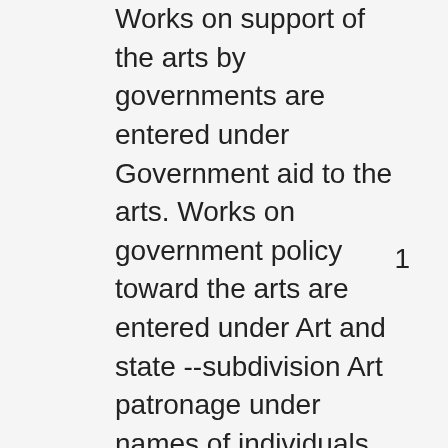Works on support of the arts by governments are entered under Government aid to the arts. Works on government policy toward the arts are entered under Art and state --subdivision Art patronage under names of individuals, families, firms,
1